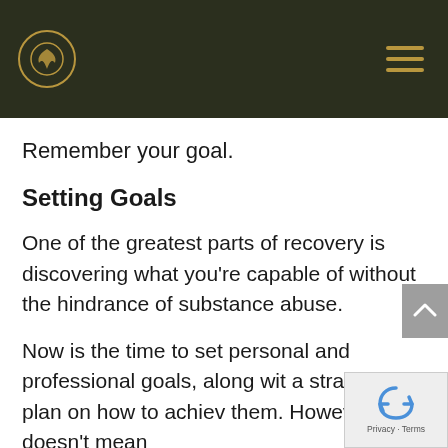[Figure (logo): Website header with dark olive/green background, circular gold-bordered logo icon on left, and gold hamburger menu icon on right]
Remember your goal.
Setting Goals
One of the greatest parts of recovery is discovering what you’re capable of without the hindrance of substance abuse.
Now is the time to set personal and professional goals, along with a strategic plan on how to achieve them. However, this doesn’t mean